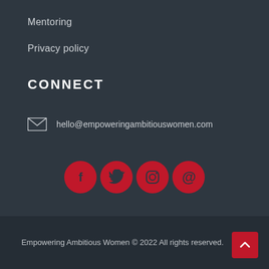Mentoring
Privacy policy
CONNECT
hello@empoweringambitiouswomen.com
[Figure (infographic): Four red circular social media icons: Facebook (f), Twitter (bird), Instagram (camera), and email (@)]
Empowering Ambitious Women © 2022 All rights reserved.